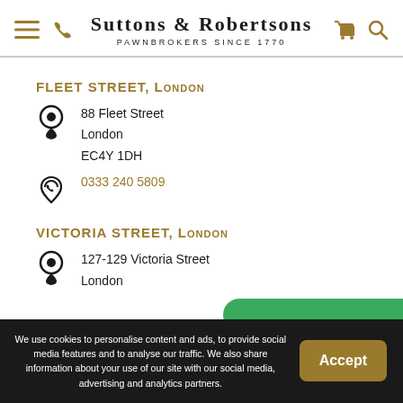[Figure (logo): Suttons & Robertsons pawnbrokers logo with navigation icons including hamburger menu, phone, shopping cart, and search]
FLEET STREET, London
88 Fleet Street
London
EC4Y 1DH
0333 240 5809
VICTORIA STREET, London
127-129 Victoria Street
London
We use cookies to personalise content and ads, to provide social media features and to analyse our traffic. We also share information about your use of our site with our social media, advertising and analytics partners.